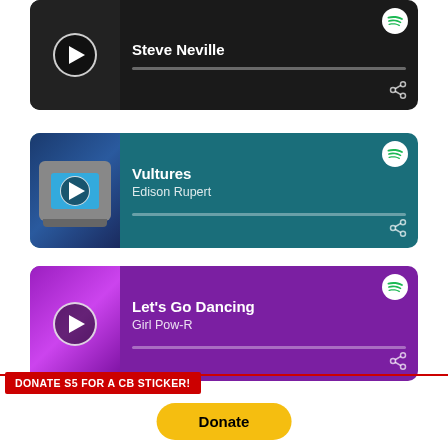[Figure (screenshot): Music player card for Steve Neville with dark background, play button, progress bar, Spotify icon, and share icon]
[Figure (screenshot): Music player card for Vultures by Edison Rupert with teal background, album art showing retro TV, play button, Spotify icon, share icon]
[Figure (screenshot): Music player card for Let's Go Dancing by Girl Pow-R with purple background, album art, play button, Spotify icon, share icon]
DONATE S5 FOR A CB STICKER!
[Figure (screenshot): Yellow PayPal Donate button]